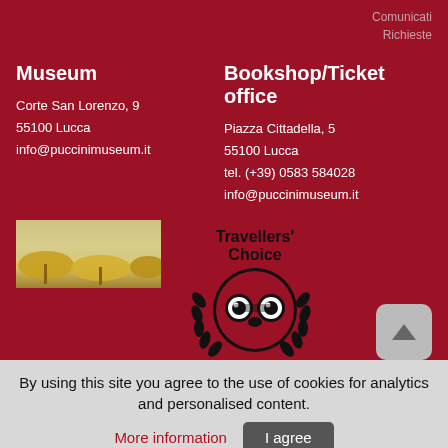Comunicati
Richieste
Museum
Corte San Lorenzo, 9
55100 Lucca
info@puccinimuseum.it
Bookshop/Ticket office
Piazza Cittadella, 5
55100 Lucca
tel. (+39) 0583 584028
info@puccinimuseum.it
[Figure (photo): Outdoor photo showing beach umbrellas or canopies against a bright sky]
[Figure (logo): TripAdvisor Travellers' Choice 2020 award logo with owl emblem and laurel wreath]
Download the app
[Figure (other): Google Play and App Store download buttons]
By using this site you agree to the use of cookies for analytics and personalised content.
More information
I agree